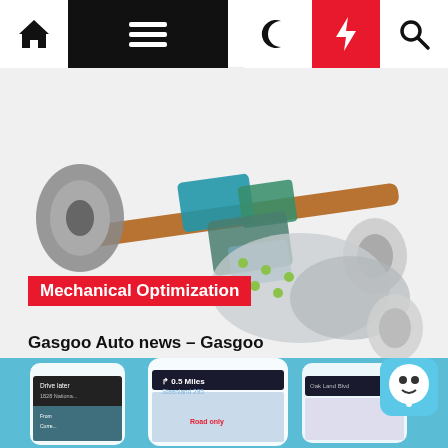Navigation bar with home, menu, moon, bolt, search icons
[Figure (photo): 3D rendering of a mechanical drivetrain/axle assembly with blue and green components]
Mechanical Optimization
Gasgoo Auto news – Gasgoo
9 hours ago
[Figure (screenshot): Screenshot of a mobile navigation/mapping app (Waze) showing phone screens with driving directions, 0.5 Miles to Steenland 295, Drive later, 1828 National, Oak Land Blvd]